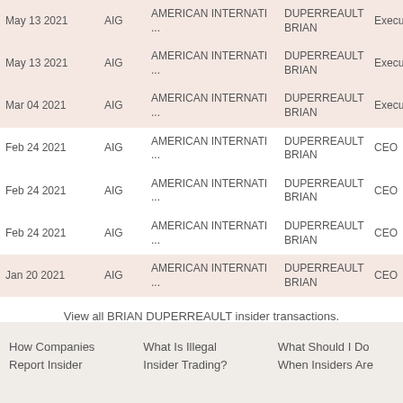| Date | Ticker | Company | Name | Role |
| --- | --- | --- | --- | --- |
| May 13 2021 | AIG | AMERICAN INTERNATI ... | DUPERREAULT BRIAN | Executi |
| May 13 2021 | AIG | AMERICAN INTERNATI ... | DUPERREAULT BRIAN | Executi |
| Mar 04 2021 | AIG | AMERICAN INTERNATI ... | DUPERREAULT BRIAN | Executi |
| Feb 24 2021 | AIG | AMERICAN INTERNATI ... | DUPERREAULT BRIAN | CEO |
| Feb 24 2021 | AIG | AMERICAN INTERNATI ... | DUPERREAULT BRIAN | CEO |
| Feb 24 2021 | AIG | AMERICAN INTERNATI ... | DUPERREAULT BRIAN | CEO |
| Jan 20 2021 | AIG | AMERICAN INTERNATI ... | DUPERREAULT BRIAN | CEO |
View all BRIAN DUPERREAULT insider transactions.
How Companies   What Is Illegal   What Should I Do
Report Insider   Insider Trading?   When Insiders Are